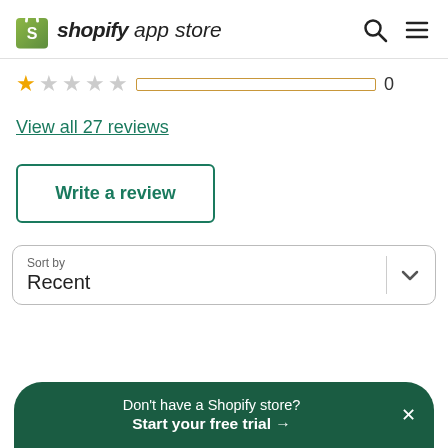shopify app store
[Figure (other): 1-star rating row with star icons, an empty progress bar outlined in gold/yellow, and a count of 0]
View all 27 reviews
Write a review
Sort by
Recent
Don't have a Shopify store? Start your free trial →